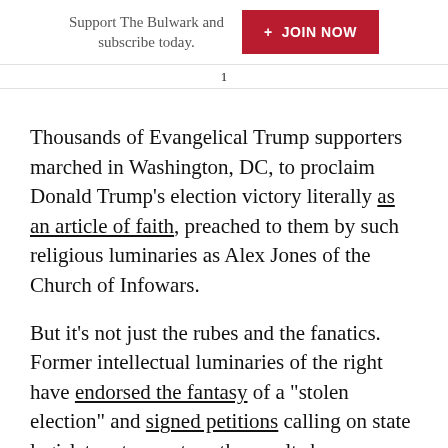Support The Bulwark and subscribe today.  + JOIN NOW
1
Thousands of Evangelical Trump supporters marched in Washington, DC, to proclaim Donald Trump’s election victory literally as an article of faith, preached to them by such religious luminaries as Alex Jones of the Church of Infowars.
But it’s not just the rubes and the fanatics. Former intellectual luminaries of the right have endorsed the fantasy of a “stolen election” and signed petitions calling on state legislators to overturn the results by appointing pro-Trump electors.